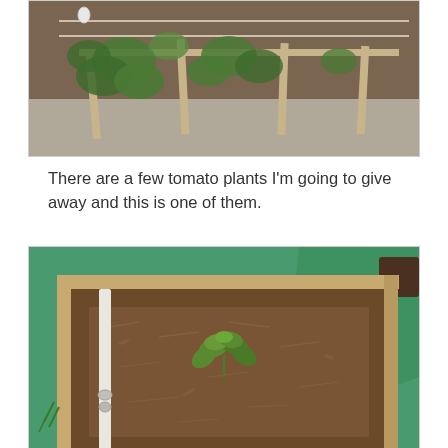[Figure (photo): Garden photo showing green leafy plants growing in a raised bed with wooden frame, string supports and white clips visible at top, concrete path in background.]
There are a few tomato plants I'm going to give away and this is one of them.
[Figure (photo): Close-up photo of a small tomato seedling with green leaves planted in a raised wooden garden bed filled with dark brown soil and mulch/wood chips. A white measuring stake is visible on the left side. Green tarpaulin visible in the background.]